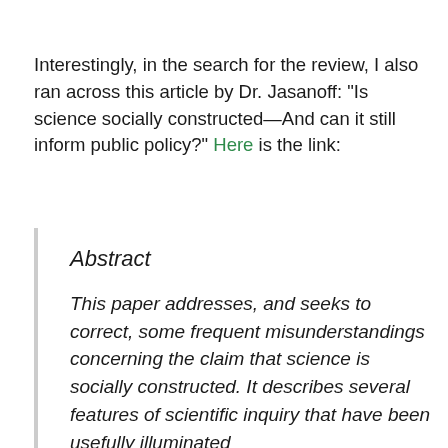Interestingly, in the search for the review, I also ran across this article by Dr. Jasanoff: “Is science socially constructed—And can it still inform public policy?” Here is the link:
Abstract
This paper addresses, and seeks to correct, some frequent misunderstandings concerning the claim that science is socially constructed. It describes several features of scientific inquiry that have been usefully illuminated